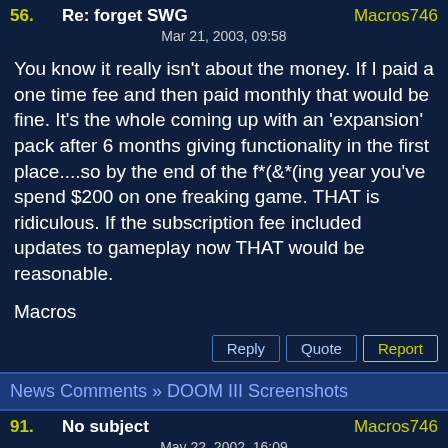56. Re: forget SWG — Macros746
Mar 21, 2003, 09:58
You know it really isn't about the money. If I paid a one time fee and then paid monthly that would be fine. It's the whole coming up with an 'expansion' pack after 6 months giving functionality in the first place....so by the end of the f*(&*(ing year you've spend $200 on one freaking game. THAT is ridiculous. If the subscription fee included updates to gameplay now THAT would be reasonable.

Macros
News Comments » DOOM III Screenshots
91. No subject — Macros746
May 22, 2002, 16:09
I LOVE number 66's permutation idea. Hopefully they bring...